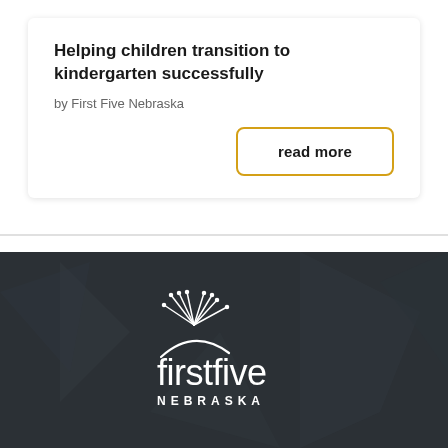Helping children transition to kindergarten successfully
by First Five Nebraska
read more
[Figure (logo): First Five Nebraska logo — white text on dark background with fireworks/starburst graphic above the text 'firstfive NEBRASKA']